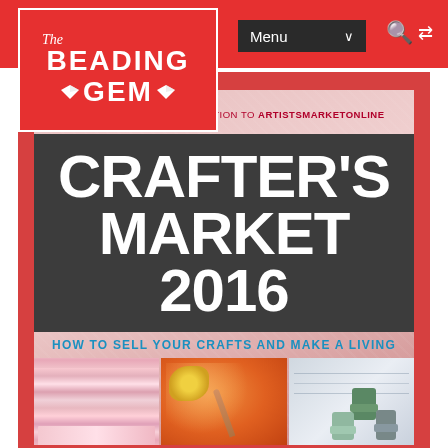[Figure (logo): The Beading Gem logo — white text on red background inside white border rectangle, with diamond gem icons]
Menu ∨
[Figure (screenshot): Book cover for Crafter's Market 2016: How to Sell Your Crafts and Make a Living. Includes a free subscription to ArtistsMarketOnline. Pink/red background with dark grey title band. Bottom shows three photos: stacked fabric, orange yarn/crochet, and thread spools on a map.]